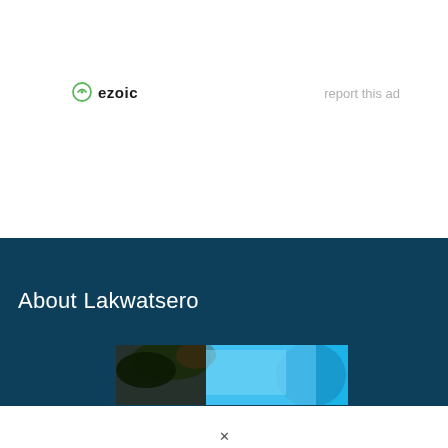[Figure (logo): Ezoic logo with green circle-arrow icon and bold 'ezoic' text in dark color]
report this ad
[Figure (photo): Partial photo showing trees and blue sky, displayed at the bottom of the dark teal banner]
About Lakwatsero